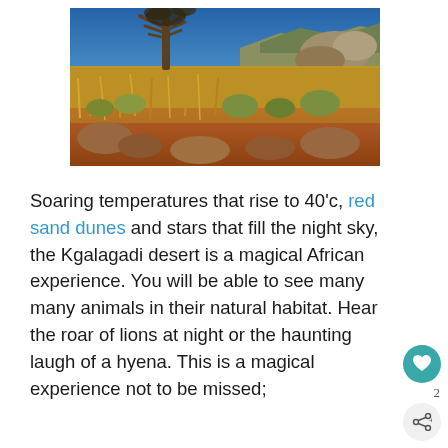[Figure (photo): Desert landscape with dry golden grassland, red rocky soil, shrubs, and a bare quiver tree (Aloe dichotoma) against a deep blue sky. Rocky outcrops visible in the background — Kgalagadi desert scene.]
Soaring temperatures that rise to 40'c, red sand dunes and stars that fill the night sky, the Kgalagadi desert is a magical African experience. You will be able to see many many animals in their natural habitat. Hear the roar of lions at night or the haunting laugh of a hyena. This is a magical experience not to be missed;